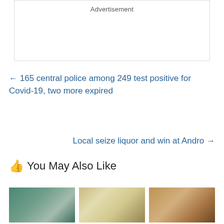Advertisement
← 165 central police among 249 test positive for Covid-19, two more expired
Local seize liquor and win at Andro →
👍 You May Also Like
[Figure (photo): Photo thumbnail 1 - crowd scene outdoors]
[Figure (photo): Photo thumbnail 2 - indoor gathering/church scene]
[Figure (photo): Photo thumbnail 3 - hands exchanging money]